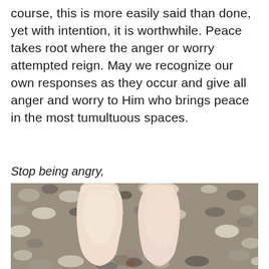course, this is more easily said than done, yet with intention, it is worthwhile. Peace takes root where the anger or worry attempted reign. May we recognize our own responses as they occur and give all anger and worry to Him who brings peace in the most tumultuous spaces.
Stop being angry,
[Figure (photo): Close-up photograph of two small baby or toddler feet resting on pebbles/rocks on a pebbly beach or rocky ground. The feet are pale and soft, with the toes pointed downward touching colorful, mottled stones.]